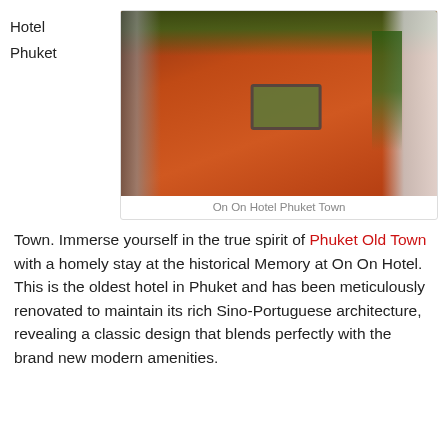Hotel
Phuket
[Figure (photo): Aerial/overhead view of On On Hotel Phuket Town courtyard with red tile floor, central water/plant feature, white walls on sides, and potted plants on shelves above]
On On Hotel Phuket Town
Town. Immerse yourself in the true spirit of Phuket Old Town with a homely stay at the historical Memory at On On Hotel. This is the oldest hotel in Phuket and has been meticulously renovated to maintain its rich Sino-Portuguese architecture, revealing a classic design that blends perfectly with the brand new modern amenities.